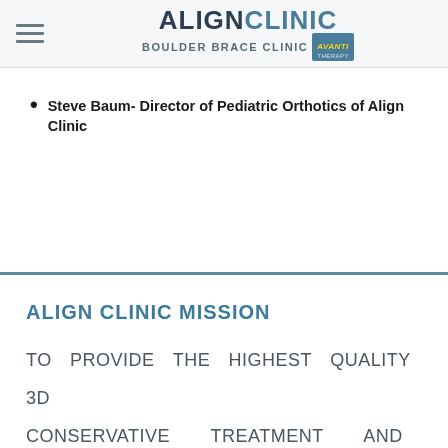ALIGN CLINIC BOULDER BRACE CLINIC AVANTI THERAPY
Steve Baum- Director of Pediatric Orthotics of Align Clinic
ALIGN CLINIC MISSION
TO PROVIDE THE HIGHEST QUALITY 3D CONSERVATIVE TREATMENT AND FOLLOW UP FOR